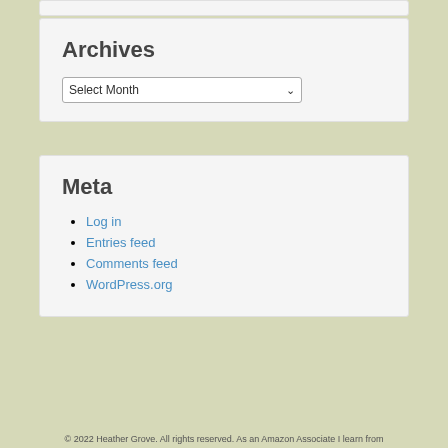Archives
Select Month
Meta
Log in
Entries feed
Comments feed
WordPress.org
© 2022 Heather Grove. All rights reserved. As an Amazon Associate I learn from